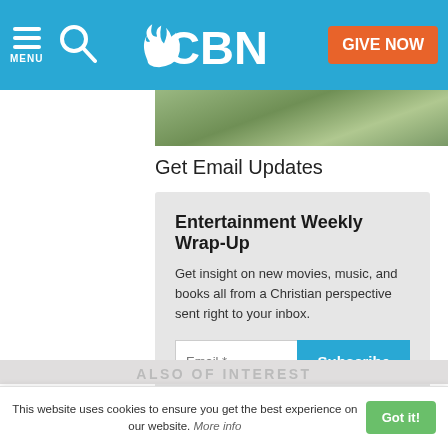CBN — MENU | Search | GIVE NOW
[Figure (photo): Partial image visible below the navigation bar, showing an outdoor scene with greenery]
Get Email Updates
Entertainment Weekly Wrap-Up
Get insight on new movies, music, and books all from a Christian perspective sent right to your inbox.
Email *  Subscribe
ALSO OF INTEREST
This website uses cookies to ensure you get the best experience on our website. More info  Got it!